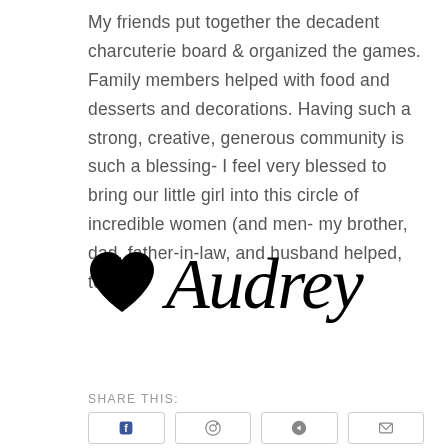My friends put together the decadent charcuterie board & organized the games. Family members helped with food and desserts and decorations. Having such a strong, creative, generous community is such a blessing- I feel very blessed to bring our little girl into this circle of incredible women (and men- my brother, dad, father-in-law, and husband helped, too!).
[Figure (illustration): A black heart emoji followed by a cursive script signature reading 'Audrey']
SHARE THIS: